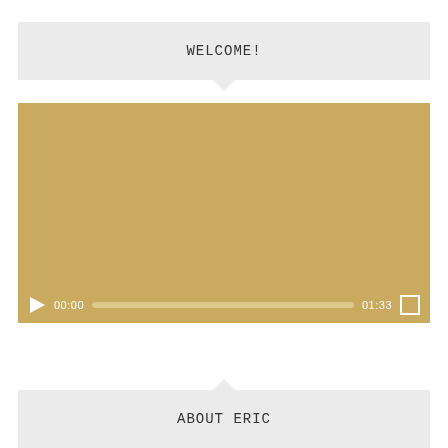WELCOME!
[Figure (screenshot): Video player with golden/tan background showing video controls: play button, time 00:00, progress bar, time 01:33, and fullscreen button]
ABOUT ERIC